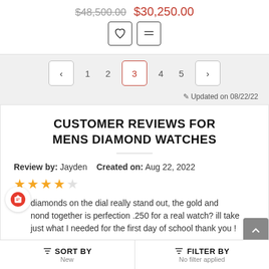$48,500.00  $30,250.00
[Figure (screenshot): Pagination control showing pages 1-5 with page 3 selected]
Updated on 08/22/22
CUSTOMER REVIEWS FOR MENS DIAMOND WATCHES
Review by: Jayden  Created on: Aug 22, 2022
★★★★☆ (4 out of 5 stars)
diamonds on the dial really stand out, the gold and nond together is perfection .250 for a real watch? ill take just what I needed for the first day of school thank you !
SORT BY New   FILTER BY No filter applied